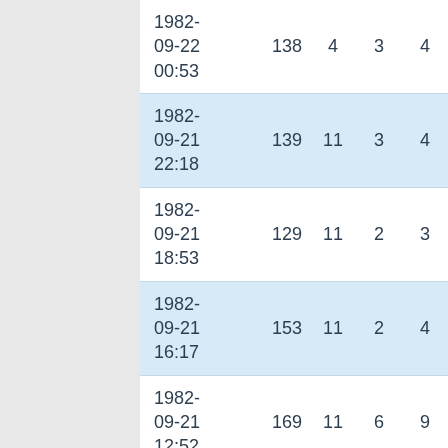| date | col1 | col2 | col3 | col4 |
| --- | --- | --- | --- | --- |
| 1982-09-22 00:53 | 138 | 4 | 3 | 4 |
| 1982-09-21 22:18 | 139 | 11 | 3 | 4 |
| 1982-09-21 18:53 | 129 | 11 | 2 | 3 |
| 1982-09-21 16:17 | 153 | 11 | 2 | 4 |
| 1982-09-21 12:52 | 169 | 11 | 6 | 9 |
| 1982-09-21 10:15 | 158 | 4 | 5 | 7 |